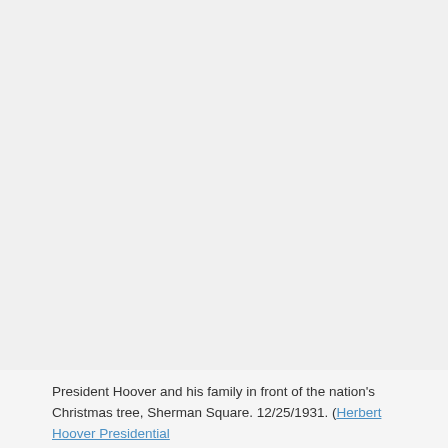[Figure (photo): Large blank/light gray area representing a historical photograph of President Hoover and his family in front of the nation's Christmas tree at Sherman Square, 12/25/1931.]
President Hoover and his family in front of the nation's Christmas tree, Sherman Square. 12/25/1931. (Herbert Hoover Presidential